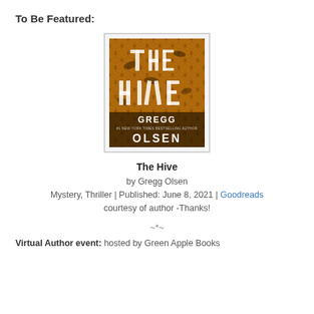To Be Featured:
[Figure (photo): Book cover of 'The Hive' by Gregg Olsen — honeycomb background with bees, title text in white honeycomb-shaped letters, author name in white at the bottom]
The Hive
by Gregg Olsen
Mystery, Thriller | Published: June 8, 2021 | Goodreads
courtesy of author -Thanks!
~*~
Virtual Author event: hosted by Green Apple Books